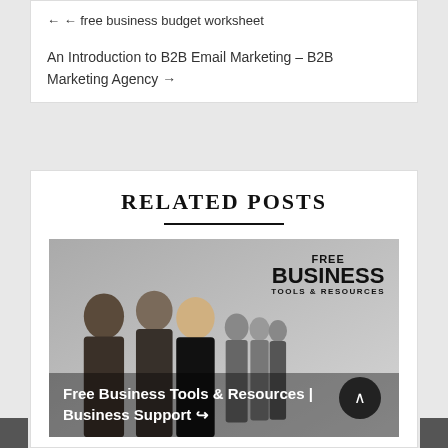← free business budget worksheet
An Introduction to B2B Email Marketing – B2B Marketing Agency →
Related Posts
[Figure (photo): Promotional image showing a group of business people on a grey background with the text 'FREE BUSINESS TOOLS & RESOURCES' and caption 'Free Business Tools & Resources | Business Support →']